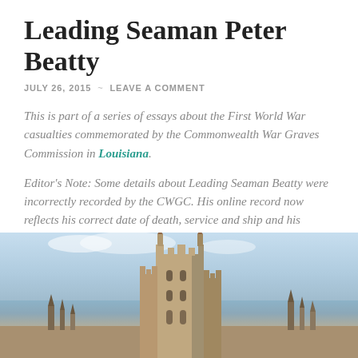Leading Seaman Peter Beatty
JULY 26, 2015 ~ LEAVE A COMMENT
This is part of a series of essays about the First World War casualties commemorated by the Commonwealth War Graves Commission in Louisiana.
Editor's Note: Some details about Leading Seaman Beatty were incorrectly recorded by the CWGC. His online record now reflects his correct date of death, service and ship and his gravestone will be replaced.
[Figure (photo): Photograph of stone Gothic-style church or memorial towers against a partly cloudy sky, with decorative pinnacles and battlements visible.]